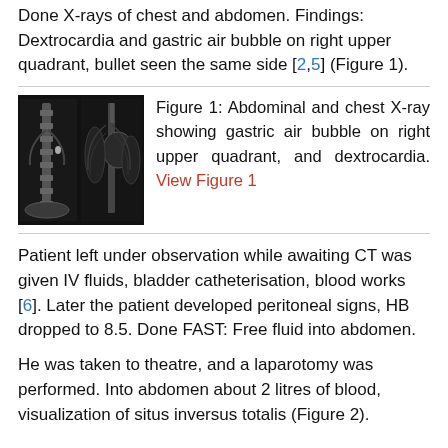Done X-rays of chest and abdomen. Findings: Dextrocardia and gastric air bubble on right upper quadrant, bullet seen the same side [2,5] (Figure 1).
[Figure (photo): X-ray image showing abdominal and chest radiograph side by side on dark background]
Figure 1: Abdominal and chest X-ray showing gastric air bubble on right upper quadrant, and dextrocardia. View Figure 1
Patient left under observation while awaiting CT was given IV fluids, bladder catheterisation, blood works [6]. Later the patient developed peritoneal signs, HB dropped to 8.5. Done FAST: Free fluid into abdomen.
He was taken to theatre, and a laparotomy was performed. Into abdomen about 2 litres of blood, visualization of situs inversus totalis (Figure 2).